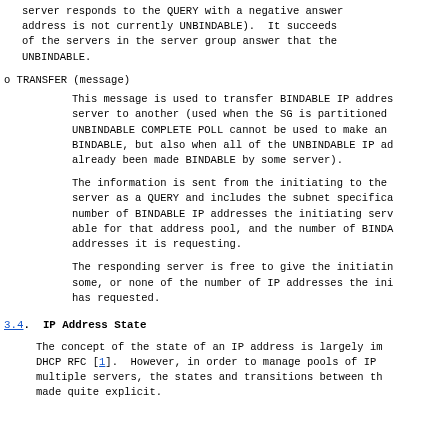also FAILS if any server FAILS to respond to the QUERY; the server responds to the QUERY with a negative answer (the IP address is not currently UNBINDABLE). It succeeds if any one of the servers in the server group answer that the IP address is UNBINDABLE.
o TRANSFER (message)
This message is used to transfer BINDABLE IP addresses from one server to another (used when the SG is partitioned and UNBINDABLE COMPLETE POLL cannot be used to make an IP address BINDABLE, but also when all of the UNBINDABLE IP addresses have already been made BINDABLE by some server).
The information is sent from the initiating to the responding server as a QUERY and includes the subnet specification, the number of BINDABLE IP addresses the initiating server is able for that address pool, and the number of BINDABLE IP addresses it is requesting.
The responding server is free to give the initiating server some, or none of the number of IP addresses the initiating server has requested.
3.4. IP Address State
The concept of the state of an IP address is largely implied in DHCP RFC [1]. However, in order to manage pools of IP addresses among multiple servers, the states and transitions between them need to be made quite explicit.